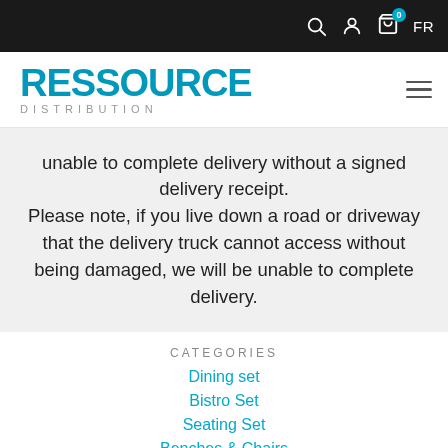Ressource Distribution — navigation bar with search, account, cart (0), FR
[Figure (logo): Ressource Distribution logo — bold teal RESSOURCE with DISTRIBUTION in grey spaced letters below]
unable to complete delivery without a signed delivery receipt. Please note, if you live down a road or driveway that the delivery truck cannot access without being damaged, we will be unable to complete delivery.
CATEGORIES
Dining set
Bistro Set
Seating Set
Benches & Chairs